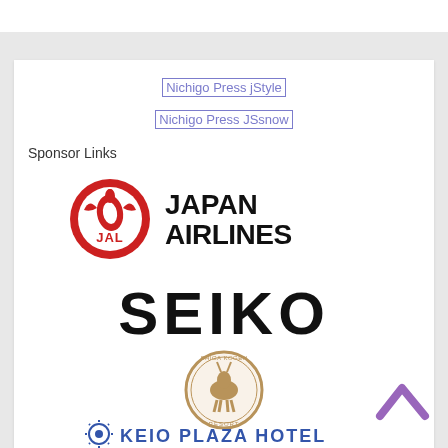[Figure (logo): Broken image placeholder: Nichigo Press jStyle]
[Figure (logo): Broken image placeholder: Nichigo Press JSsnow]
Sponsor Links
[Figure (logo): Japan Airlines (JAL) logo — red crane circle with JAL text and JAPAN AIRLINES wordmark in black bold]
[Figure (logo): SEIKO logo in large black bold letters]
[Figure (logo): Shiga Kogen resort circular badge logo in brown/tan]
[Figure (logo): Keio Plaza Hotel logo partially visible at bottom]
[Figure (illustration): Back-to-top chevron arrow in purple/violet at bottom right]